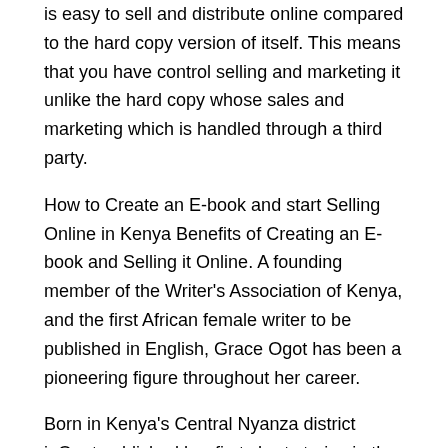is easy to sell and distribute online compared to the hard copy version of itself. This means that you have control selling and marketing it unlike the hard copy whose sales and marketing which is handled through a third party.
How to Create an E-book and start Selling Online in Kenya Benefits of Creating an E-book and Selling it Online. A founding member of the Writer's Association of Kenya, and the first African female writer to be published in English, Grace Ogot has been a pioneering figure throughout her career.
Born in Kenya's Central Nyanza district inOgot published her first short stories in the early s and her first novel, The Promised Land, in This depicted the migration of a young farmer and his. Find the latest and best rated books for sale at Nuria. Thousands of titles available from leading authors across the world.
Pay on Delivery. Top Deals Today. Islam and Ethnicity in Northern Kenya and Southern Ethiopia Ksh Once you are ready to travel, contact us on Tel: + 20 Mobile: + or on email at ons@ You can also